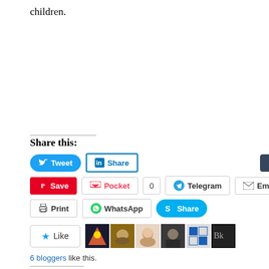children.
Share this:
Tweet | Share | Post | Save | Pocket | 0 | Telegram | Email | Print | WhatsApp | Share
6 bloggers like this.